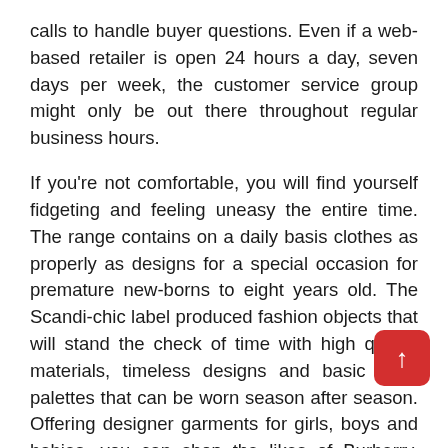calls to handle buyer questions. Even if a web-based retailer is open 24 hours a day, seven days per week, the customer service group might only be out there throughout regular business hours.
If you're not comfortable, you will find yourself fidgeting and feeling uneasy the entire time. The range contains on a daily basis clothes as properly as designs for a special occasion for premature new-borns to eight years old. The Scandi-chic label produced fashion objects that will stand the check of time with high quality materials, timeless designs and basic color palettes that can be worn season after season. Offering designer garments for girls, boys and babies, you can shop the likes of Burberry, Gucci, Kenzo, Moncler, Fendi and Roberto Cavalli in addition to up-and-coming manufacturers. Get your back to school necessities, casual clothes and cute